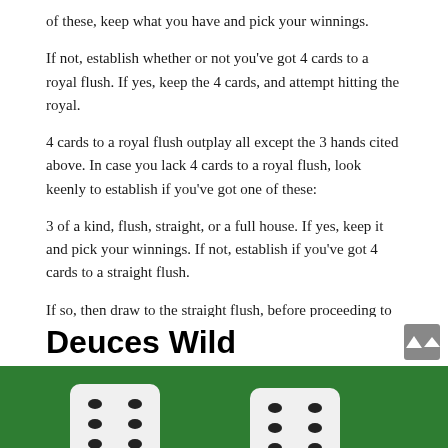of these, keep what you have and pick your winnings.
If not, establish whether or not you've got 4 cards to a royal flush. If yes, keep the 4 cards, and attempt hitting the royal.
4 cards to a royal flush outplay all except the 3 hands cited above. In case you lack 4 cards to a royal flush, look keenly to establish if you've got one of these:
3 of a kind, flush, straight, or a full house. If yes, keep it and pick your winnings. If not, establish if you've got 4 cards to a straight flush.
If so, then draw to the straight flush, before proceeding to establish if you've got any of these two paying hands: a pair of Jacks or Better, or 2 pairs.
Deuces Wild
[Figure (photo): Green felt table with two white dice showing black dots, partially visible at the bottom of the image]